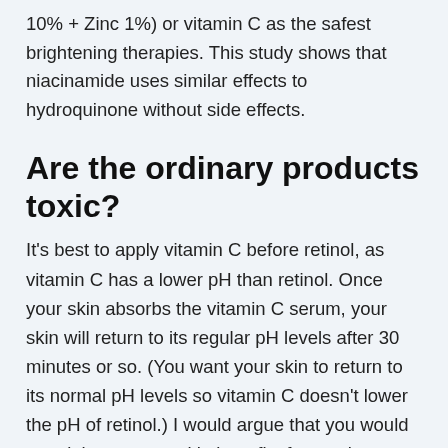10% + Zinc 1%) or vitamin C as the safest brightening therapies. This study shows that niacinamide uses similar effects to hydroquinone without side effects.
Are the ordinary products toxic?
It's best to apply vitamin C before retinol, as vitamin C has a lower pH than retinol. Once your skin absorbs the vitamin C serum, your skin will return to its regular pH levels after 30 minutes or so. (You want your skin to return to its normal pH levels so vitamin C doesn't lower the pH of retinol.) I would argue that you would certainly get more skin benefits from using a moderate leave-on